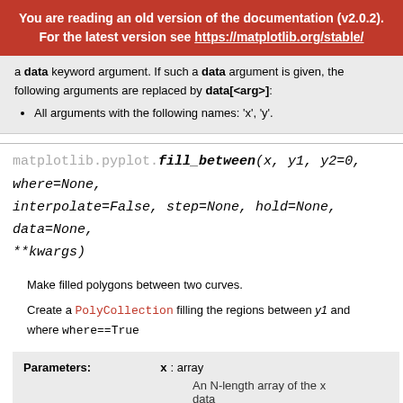You are reading an old version of the documentation (v2.0.2). For the latest version see https://matplotlib.org/stable/
a data keyword argument. If such a data argument is given, the following arguments are replaced by data[<arg>]: All arguments with the following names: 'x', 'y'.
matplotlib.pyplot.fill_between(x, y1, y2=0, where=None, interpolate=False, step=None, hold=None, data=None, **kwargs)
Make filled polygons between two curves.
Create a PolyCollection filling the regions between y1 and where where==True
| Parameters: | x : array | An N-length array of the x data | y1 : arr... |
| --- | --- | --- | --- |